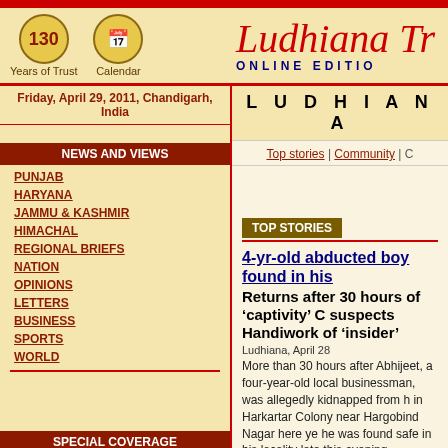Ludhiana Tribune Online Edition
Friday, April 29, 2011, Chandigarh, India
NEWS AND VIEWS
PUNJAB
HARYANA
JAMMU & KASHMIR
HIMACHAL
REGIONAL BRIEFS
NATION
OPINIONS
LETTERS
BUSINESS
SPORTS
WORLD
SPECIAL COVERAGE
CHANDIGARH
LUDHIANA
DELHI
LUDHIANA
Top stories | Community | C
TOP STORIES
4-yr-old abducted boy found in his
Returns after 30 hours of ‘captivity’ C suspects Handiwork of ‘insider’
Ludhiana, April 28
More than 30 hours after Abhijeet, a four-year-old local businessman, was allegedly kidnapped from h in Harkartar Colony near Hargobind Nagar here ye he was found safe in his locality late this evening.
Parents seek astrologers’ help
Ludhiana, April 28
Bogged down by helplessness for not being able to